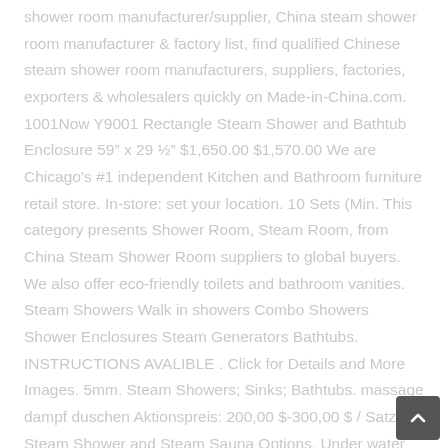shower room manufacturer/supplier, China steam shower room manufacturer & factory list, find qualified Chinese steam shower room manufacturers, suppliers, factories, exporters & wholesalers quickly on Made-in-China.com. 1001Now Y9001 Rectangle Steam Shower and Bathtub Enclosure 59" x 29 ½" $1,650.00 $1,570.00 We are Chicago's #1 independent Kitchen and Bathroom furniture retail store. In-store: set your location. 10 Sets (Min. This category presents Shower Room, Steam Room, from China Steam Shower Room suppliers to global buyers. We also offer eco-friendly toilets and bathroom vanities. Steam Showers Walk in showers Combo Showers Shower Enclosures Steam Generators Bathtubs. INSTRUCTIONS AVALIBLE . Click for Details and More Images. 5mm. Steam Showers; Sinks; Bathtubs. massage dampf duschen Aktionspreis: 200,00 $-300,00 $ / Satz. Steam Shower and Steam Sauna Options. Under water Pan and Pause Lighting System. 1001Now Bolsena 60" Matte Seamless Freestanding Acrylic Bathtub $925.00. Current Bid: $2,600.00. 1/6. We carry all major steam